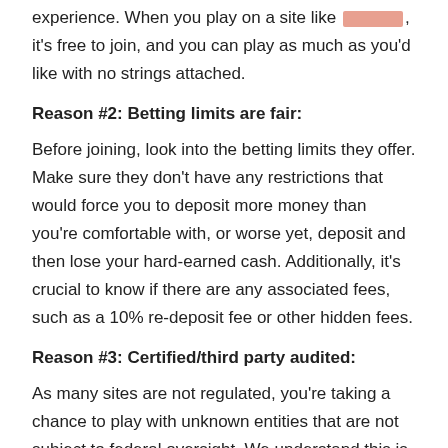experience. When you play on a site like [REDACTED], it's free to join, and you can play as much as you'd like with no strings attached.
Reason #2: Betting limits are fair:
Before joining, look into the betting limits they offer. Make sure they don't have any restrictions that would force you to deposit more money than you're comfortable with, or worse yet, deposit and then lose your hard-earned cash. Additionally, it's crucial to know if there are any associated fees, such as a 10% re-deposit fee or other hidden fees.
Reason #3: Certified/third party audited:
As many sites are not regulated, you're taking a chance to play with unknown entities that are not subject to federal oversight. We understand this is a guarantee, but it does provide peace of mind that what you deposit doesn't go missing like it would if you were depositing at an unregulated casino.